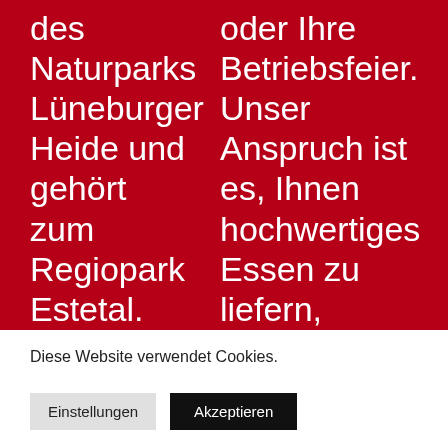des Naturparks Lüneburger Heide und gehört zum Regiopark Estetal. Sie erreichen uns sehr leicht über die Autobahn A1 (Hamburg-...
oder Ihre Betriebsfeier. Unser Anspruch ist es, Ihnen hochwertiges Essen zu liefern, zubereitet aus frischen, regionalen Produkten.
Diese Website verwendet Cookies.
Einstellungen
Akzeptieren